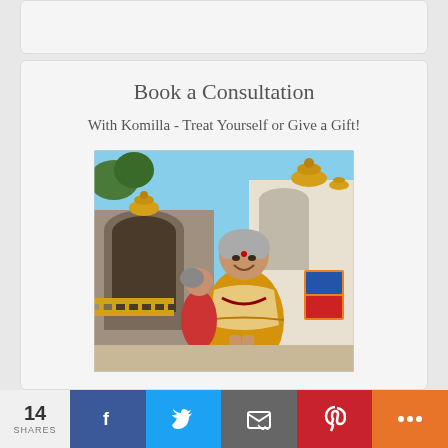Book a Consultation
With Komilla - Treat Yourself or Give a Gift!
[Figure (photo): Woman in yellow/golden clothing smiling with hands in prayer gesture, standing in front of an ornate Indian temple with golden domes]
14 SHARES